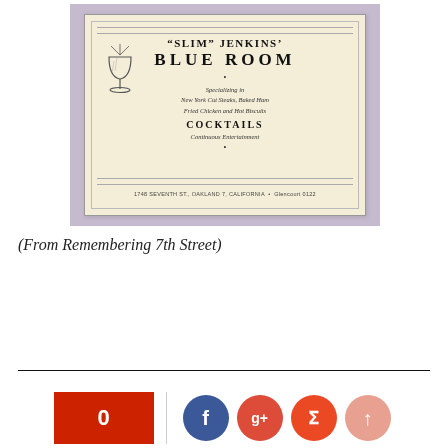[Figure (photo): Photograph of a vintage menu card for Slim Jenkins' Blue Room restaurant. The card reads: "SLIM" JENKINS' BLUE ROOM. Specializing in New York Cut Steaks, Baked Ham, Fried Chicken and Hot Biscuits. COCKTAILS. Continuous Entertainment. 1748 SEVENTH ST., OAKLAND 7, CALIFORNIA. Glencourt 0122. Features a goblet/cocktail glass illustration on the left side. Card has decorative border.]
(From Remembering 7th Street)